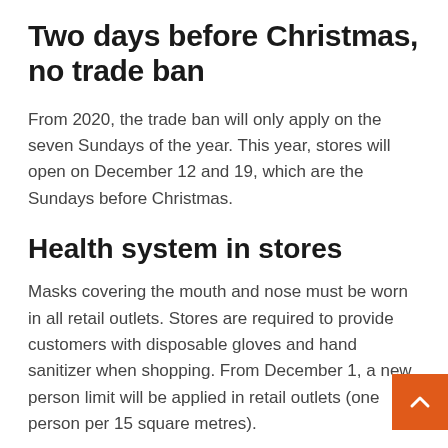Two days before Christmas, no trade ban
From 2020, the trade ban will only apply on the seven Sundays of the year. This year, stores will open on December 12 and 19, which are the Sundays before Christmas.
Health system in stores
Masks covering the mouth and nose must be worn in all retail outlets. Stores are required to provide customers with disposable gloves and hand sanitizer when shopping. From December 1, a new person limit will be applied in retail outlets (one person per 15 square metres).